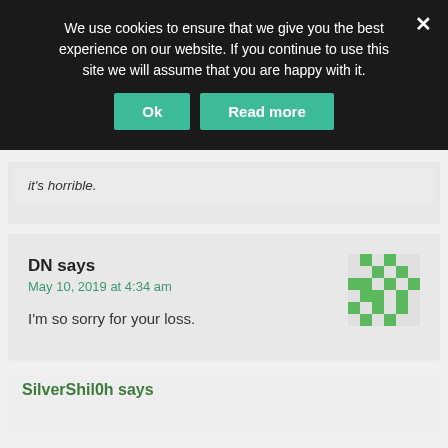We use cookies to ensure that we give you the best experience on our website. If you continue to use this site we will assume that you are happy with it.
Ok
Read more
It's horrible.
DN says
May 10, 2019 at 4:34 am
I'm so sorry for your loss.
SilverShil0h says